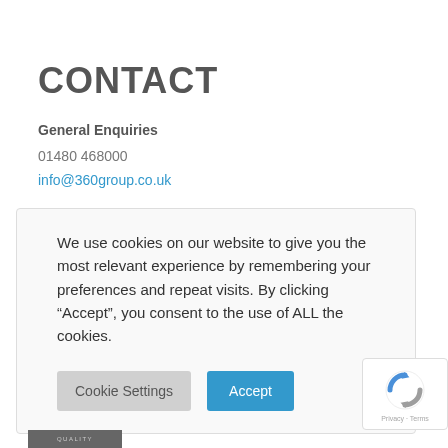CONTACT
General Enquiries
01480 468000
info@360group.co.uk
We use cookies on our website to give you the most relevant experience by remembering your preferences and repeat visits. By clicking “Accept”, you consent to the use of ALL the cookies.
Cookie Settings   Accept
[Figure (logo): reCAPTCHA badge with circular arrow icon and Privacy - Terms text]
QUALITY